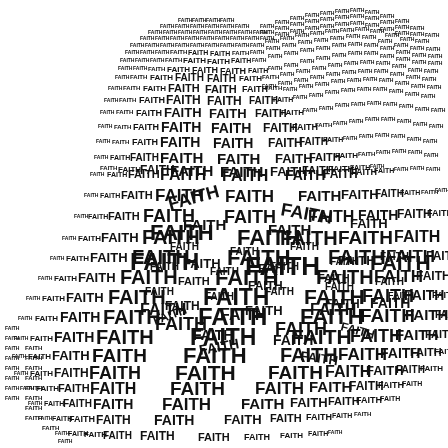[Figure (illustration): A word cloud / typographic art piece shaped like a flexing arm (bicep curl pose), composed entirely of the repeated word FAITH in varying sizes, weights, and orientations in black on white background. Larger FAITH words appear in the center/foreground of the shape; smaller repetitions fill the outline and background areas.]